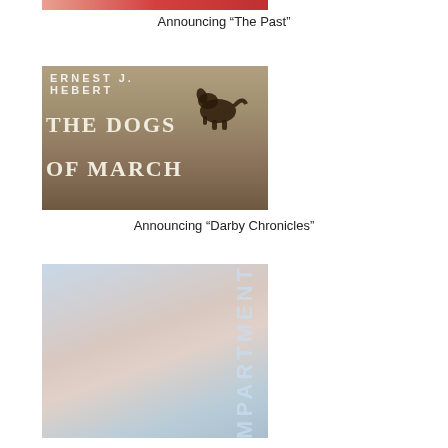[Figure (photo): Partially cropped red book cover at the top of the page]
Announcing “The Past”
[Figure (photo): Book cover for 'The Dogs of March' by Ernest Hebert, brown/sepia tones with large bold text and a dog silhouette]
Announcing “Darby Chronicles”
[Figure (photo): Book cover with soft blue and pink gradient tones and vertical text reading 'MPARTMENT' (partially visible, likely 'COMPARTMENT')]
Announcing “The Blue Split Compartments”